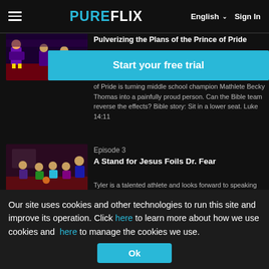PURE FLIX   English v   Sign In
[Figure (screenshot): Animated scene thumbnail for Episode 2 showing cartoon characters on a stage]
Pulverizing the Plans of the Prince of Pride
[Figure (other): Start your free trial - blue overlay button]
of Pride is turning middle school champion Mathlete Becky Thomas into a painfully proud person. Can the Bible team reverse the effects? Bible story: Sit in a lower seat. Luke 14:11
Episode 3
[Figure (screenshot): Animated scene thumbnail for Episode 3 showing cartoon characters in a gym/hallway]
A Stand for Jesus Foils Dr. Fear
Tyler is a talented athlete and looks forward to speaking for the Lord at Bibleman's "Faith Night" event, so of course Dr. Fear has targeted Tyler in
Our site uses cookies and other technologies to run this site and improve its operation. Click here to learn more about how we use cookies and here to manage the cookies we use.
Ok